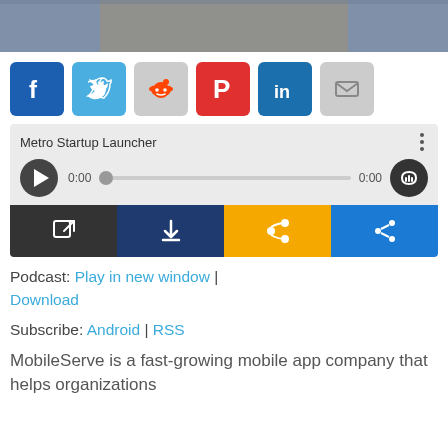[Figure (photo): Partial photo showing people working, cropped to a horizontal bar at top of page]
[Figure (infographic): Social share icon buttons: Facebook, Twitter, Reddit, Pinterest, LinkedIn, Email]
[Figure (infographic): Podcast audio player widget: title 'Metro Startup Launcher', play button, progress bar, time 0:00, volume button, action buttons (new window, download, RSS, share)]
Podcast: Play in new window | Download
Subscribe: Android | RSS
MobileServe is a fast-growing mobile app company that helps organizations